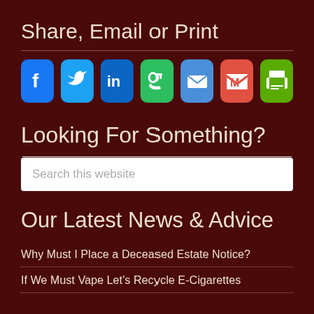Share, Email or Print
[Figure (infographic): Row of 7 social sharing icon buttons: Facebook (blue), Twitter (blue), LinkedIn (blue), Evernote (green), Email (blue), Gmail (red), Print (green)]
Looking For Something?
Search this website
Our Latest News & Advice
Why Must I Place a Deceased Estate Notice?
If We Must Vape Let's Recycle E-Cigarettes